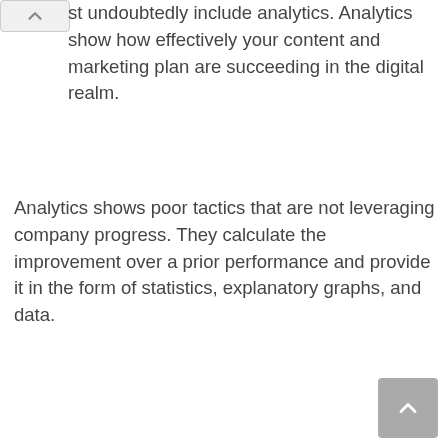st undoubtedly include analytics. Analytics show how effectively your content and marketing plan are succeeding in the digital realm.
Analytics shows poor tactics that are not leveraging company progress. They calculate the improvement over a prior performance and provide it in the form of statistics, explanatory graphs, and data.